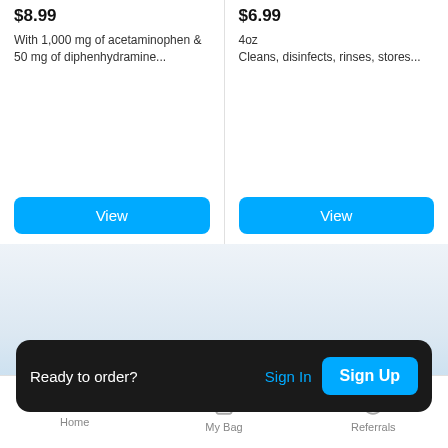$8.99
With 1,000 mg of acetaminophen & 50 mg of diphenhydramine...
View
$6.99
4oz
Cleans, disinfects, rinses, stores...
View
Browse More Categories
Ready to order?
Sign In
Sign Up
Jelly Beans
Can Beer
Home   My Bag   Referrals